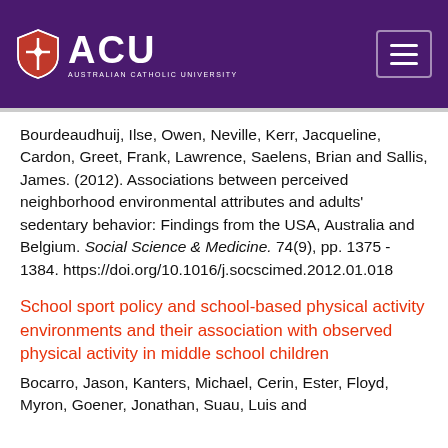[Figure (logo): ACU Australian Catholic University logo with shield icon on dark purple background with hamburger menu button]
Bourdeaudhuij, Ilse, Owen, Neville, Kerr, Jacqueline, Cardon, Greet, Frank, Lawrence, Saelens, Brian and Sallis, James. (2012). Associations between perceived neighborhood environmental attributes and adults' sedentary behavior: Findings from the USA, Australia and Belgium. Social Science & Medicine. 74(9), pp. 1375 - 1384. https://doi.org/10.1016/j.socscimed.2012.01.018
School sport policy and school-based physical activity environments and their association with observed physical activity in middle school children
Bocarro, Jason, Kanters, Michael, Cerin, Ester, Floyd, Myron, Goener, Jonathan, Suau, Luis and